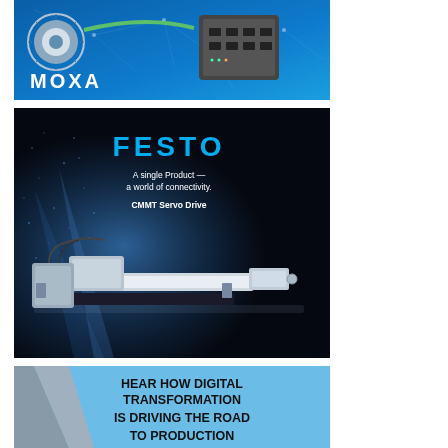[Figure (advertisement): MOXA advertisement banner with blue background, network connectivity circuit visuals, industrial networking devices (encoder wheel and Ethernet switch), and white MOXA logo text at bottom left.]
[Figure (advertisement): FESTO advertisement with dark blue/black background featuring particle/splash visual effect on the left, CMMT Servo Drive industrial linear actuator product image, FESTO brand name in cyan, tagline 'A single Product — a world of connectivity.' and 'CMMT Servo Drive' product name.]
[Figure (advertisement): Light blue advertisement banner with bold black text 'HEAR HOW DIGITAL TRANSFORMATION IS DRIVING THE ROAD TO PRODUCTION' and a gray geometric triangle shape on the left side.]